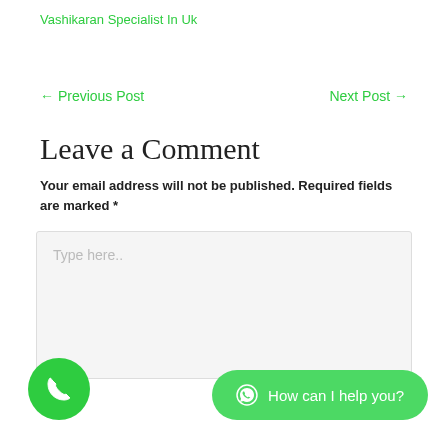Vashikaran Specialist In Uk
← Previous Post
Next Post →
Leave a Comment
Your email address will not be published. Required fields are marked *
Type here..
[Figure (other): Green phone call button (circular)]
[Figure (other): WhatsApp chat button: How can I help you?]